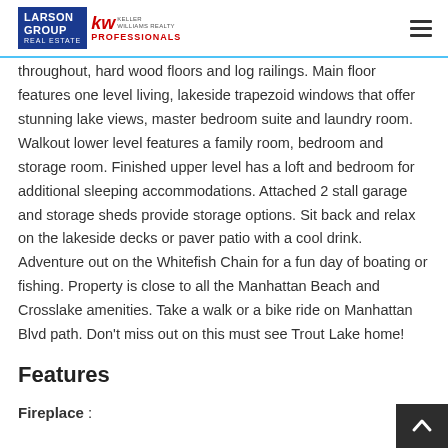Larson Group Real Estate | Keller Williams Realty Professionals
throughout, hard wood floors and log railings. Main floor features one level living, lakeside trapezoid windows that offer stunning lake views, master bedroom suite and laundry room. Walkout lower level features a family room, bedroom and storage room. Finished upper level has a loft and bedroom for additional sleeping accommodations. Attached 2 stall garage and storage sheds provide storage options. Sit back and relax on the lakeside decks or paver patio with a cool drink. Adventure out on the Whitefish Chain for a fun day of boating or fishing. Property is close to all the Manhattan Beach and Crosslake amenities. Take a walk or a bike ride on Manhattan Blvd path. Don't miss out on this must see Trout Lake home!
Features
Fireplace :